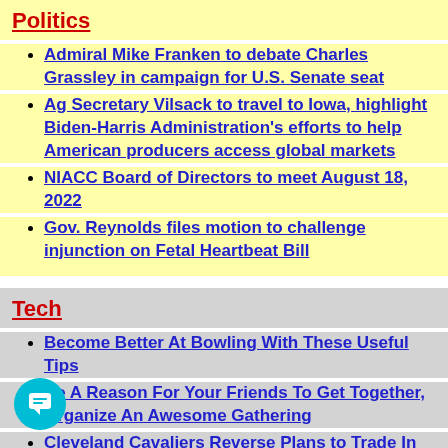Politics
Admiral Mike Franken to debate Charles Grassley in campaign for U.S. Senate seat
Ag Secretary Vilsack to travel to Iowa, highlight Biden-Harris Administration's efforts to help American producers access global markets
NIACC Board of Directors to meet August 18, 2022
Gov. Reynolds files motion to challenge injunction on Fetal Heartbeat Bill
Tech
Become Better At Bowling With These Useful Tips
Be A Reason For Your Friends To Get Together, Organize An Awesome Gathering
Cleveland Cavaliers Reverse Plans to Trade In Utah Jazz Star Donovan Mitchell
Benefits Of Using Coupons & Discount Codes For Your Shopping Sprees